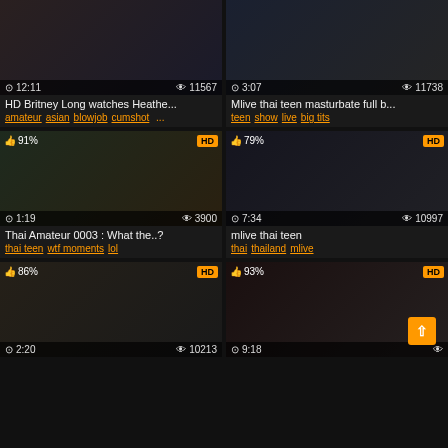[Figure (screenshot): Video thumbnail grid - Row 1: Two adult video thumbnails with duration and view overlays]
HD Britney Long watches Heathe...
amateur asian blowjob cumshot ...
Mlive thai teen masturbate full b...
teen show live big tits
[Figure (screenshot): Row 2: Two adult video thumbnails, 91% and 79% like ratings, HD badges]
Thai Amateur 0003 : What the..?
thai teen wtf moments lol
mlive thai teen
thai thailand mlive
[Figure (screenshot): Row 3: Two adult video thumbnails, 86% and 93% like ratings, HD badges]